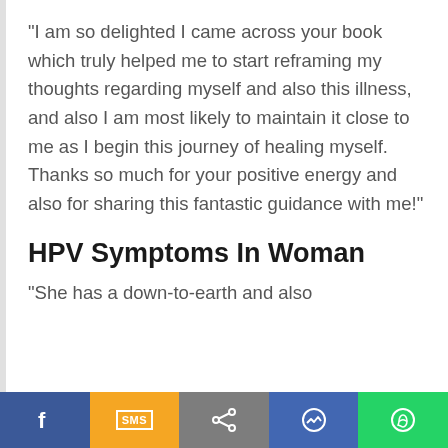"I am so delighted I came across your book which truly helped me to start reframing my thoughts regarding myself and also this illness, and also I am most likely to maintain it close to me as I begin this journey of healing myself. Thanks so much for your positive energy and also for sharing this fantastic guidance with me!"
HPV Symptoms In Woman
"She has a down-to-earth and also